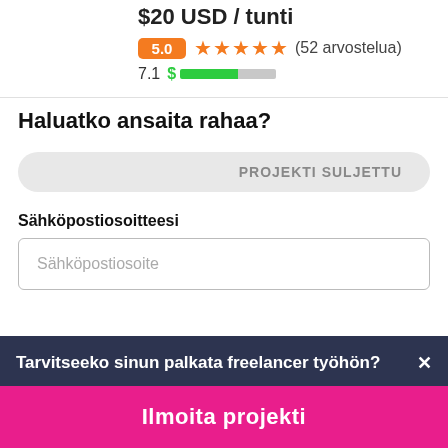$20 USD / tunti
5.0 ★★★★★ (52 arvostelua)
7.1 $ [bar indicator]
Haluatko ansaita rahaa?
PROJEKTI SULJETTU
Sähköpostiosoitteesi
Sähköpostiosoite
Tarvitseeko sinun palkata freelancer työhön?
Ilmoita projekti